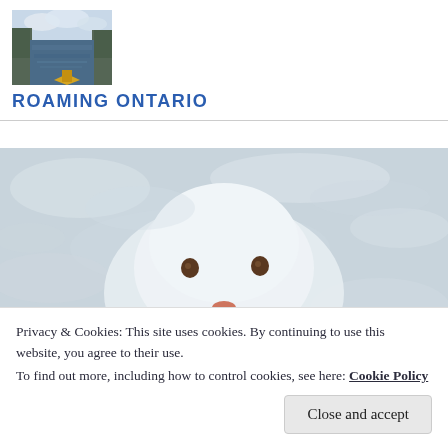[Figure (photo): Small header logo photo showing a kayak on a narrow waterway between rocky cliffs, landscape orientation]
ROAMING ONTARIO
[Figure (photo): Close-up photo of a snowman face from above, showing two dark eyes and an orange nose, set against white snow background]
Privacy & Cookies: This site uses cookies. By continuing to use this website, you agree to their use.
To find out more, including how to control cookies, see here: Cookie Policy
Close and accept